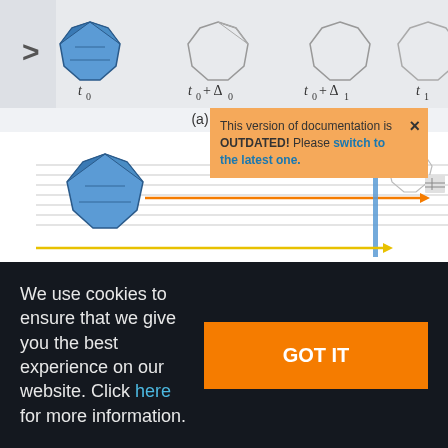[Figure (engineering-diagram): Diagram showing a 3D polyhedron (blue octahedron-like shape) moving across a timeline. Top strip shows multiple outline shapes at time points t0, t0+Delta0, t0+Delta1, t1. Bottom strip shows the blue shape with orange arrow pointing right and a yellow arrow pointing right, with a vertical blue timeline marker. Navigation chevron '>' visible on left.]
(a)
This version of documentation is OUTDATED! Please switch to the latest one.
We use cookies to ensure that we give you the best experience on our website. Click here for more information.